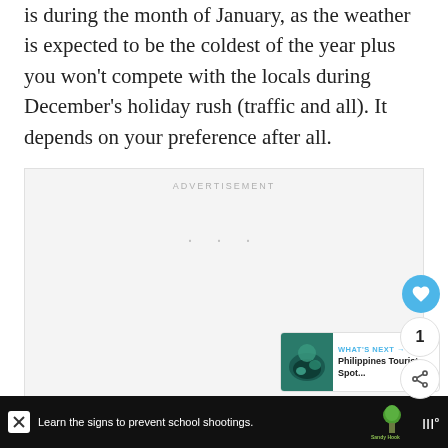is during the month of January, as the weather is expected to be the coldest of the year plus you won't compete with the locals during December's holiday rush (traffic and all). It depends on your preference after all.
[Figure (other): Advertisement placeholder box with 'ADVERTISEMENT' label and loading dots]
[Figure (other): Heart/like button (blue circle with heart icon), count showing 1, and share button]
[Figure (other): What's Next widget showing Philippines tourist spot thumbnail with header 'WHAT'S NEXT' and title 'Philippines Tourist Spot...']
[Figure (other): Bottom advertisement banner on dark background: 'Learn the signs to prevent school shootings.' with Sandy Hook Promise logo and Tidal logo]